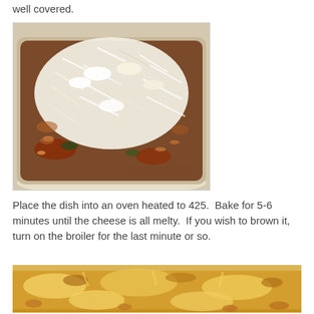well covered.
[Figure (photo): A baking dish filled with rotini pasta topped with shredded mozzarella cheese, unmelted, ready to go into the oven.]
Place the dish into an oven heated to 425.  Bake for 5-6 minutes until the cheese is all melty.  If you wish to brown it, turn on the broiler for the last minute or so.
[Figure (photo): A baking dish with baked pasta casserole topped with melted, browned cheese, close-up view.]